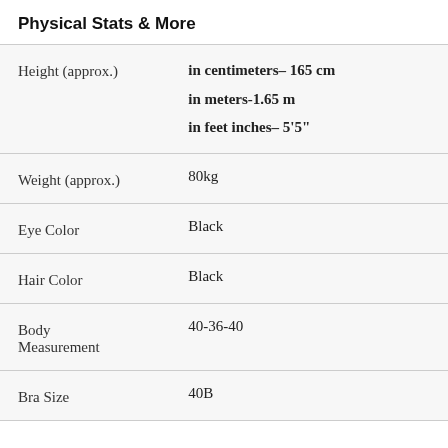Physical Stats & More
| Attribute | Value |
| --- | --- |
| Height (approx.) | in centimeters– 165 cm
in meters-1.65 m
in feet inches– 5'5" |
| Weight (approx.) | 80kg |
| Eye Color | Black |
| Hair Color | Black |
| Body Measurement | 40-36-40 |
| Bra Size | 40B |